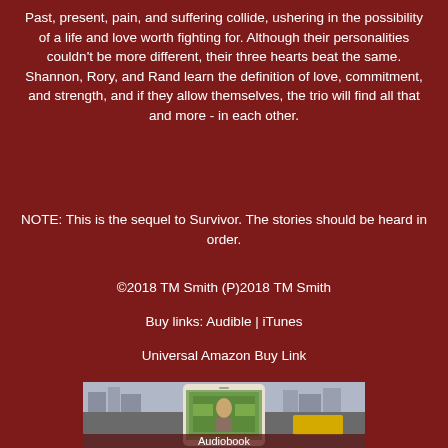Past, present, pain, and suffering collide, ushering in the possibility of a life and love worth fighting for. Although their personalities couldn't be more different, their three hearts beat the same. Shannon, Rory, and Rand learn the definition of love, commitment, and strength, and if they allow themselves, the trio will find all that and more - in each other.
NOTE: This is the sequel to Survivor. The stories should be heard in order.
©2018 TM Smith (P)2018 TM Smith
Buy links: Audible | iTunes
Universal Amazon Buy Link
[Figure (photo): Audiobook product image showing a phone/book cover with a city street scene and a person visible, labeled 'Audiobook' at the bottom]